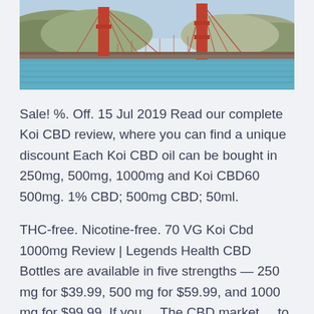[Figure (photo): Photo of the Golden Gate Bridge from water level, showing the red bridge tower with hills and blue sky in background and teal-green water in foreground.]
Sale! %. Off. 15 Jul 2019 Read our complete Koi CBD review, where you can find a unique discount Each Koi CBD oil can be bought in 250mg, 500mg, 1000mg and Koi CBD60 500mg. 1% CBD; 500mg CBD; 50ml.
THC-free. Nicotine-free. 70 VG Koi Cbd 1000mg Review | Legends Health CBD Bottles are available in five strengths — 250 mg for $39.99, 500 mg for $59.99, and 1000 mg for $99.99. If you ... The CBD market ... to your door. Koi Naturals is a full-spectrum formula that comes in 6 delectable flavors: strawberry, peppermint, orange, lemon-lime, spearmint and natural